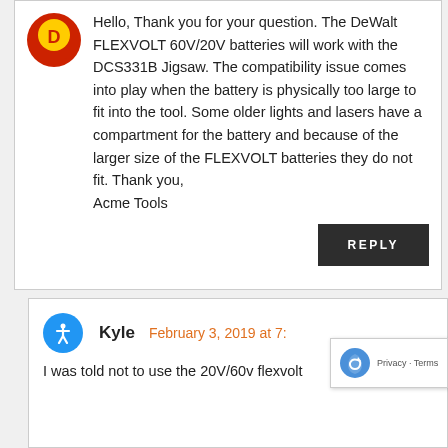[Figure (illustration): Round avatar/logo icon with red and yellow design, partially visible at the top left of the first comment box]
Hello, Thank you for your question. The DeWalt FLEXVOLT 60V/20V batteries will work with the DCS331B Jigsaw. The compatibility issue comes into play when the battery is physically too large to fit into the tool. Some older lights and lasers have a compartment for the battery and because of the larger size of the FLEXVOLT batteries they do not fit. Thank you,
Acme Tools
REPLY
Kyle
February 3, 2019 at 7:
I was told not to use the 20V/60V flexvolt